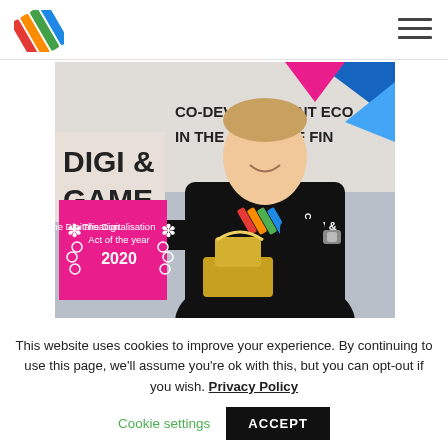Navigation header with logo and hamburger menu
[Figure (photo): Man in black Digi & Game Center t-shirt holding a trophy award. Behind him is a banner reading 'CO-DEVELOPMENT ECO... IN THE HEART OF FIN...' and 'DIGI & GAME'. A pink sign reads 'The Digitalisation Act of the year 2020' with laurel wreath decoration.]
This website uses cookies to improve your experience. By continuing to use this page, we'll assume you're ok with this, but you can opt-out if you wish. Privacy Policy
Cookie settings  ACCEPT